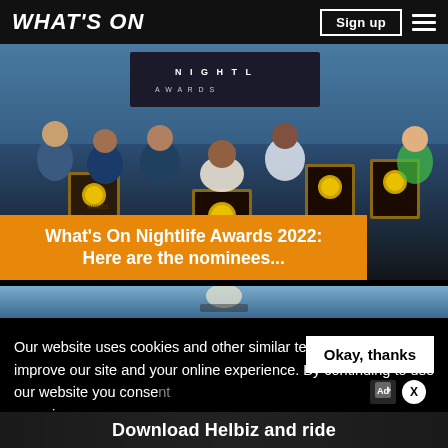WHAT'S ON
[Figure (photo): Group photo of nightlife award winners holding gold-framed awards at the What's On Nightlife Awards ceremony, crowd of people celebrating in front of a backdrop with 'NIGHTLIFE AWARDS' text]
What's On Nightlife Awards 2022: Here are the nominees...
[Figure (photo): Partial view of a second article image showing a person riding an electric scooter or similar vehicle outdoors]
Our website uses cookies and other similar technologies to improve our site and your online experience. By continuing to use our website you consent... our pri...
Download Helbiz and ride